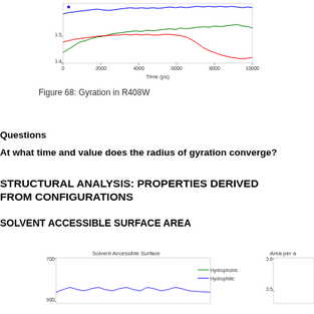[Figure (continuous-plot): Line chart showing Gyration in R408W over time (ps) from 0 to 10000. Y-axis ranges approximately 1.4 to above 1.5. Three colored lines: blue (top), green (middle), red (bottom right area). X-axis labeled Time (ps) with ticks at 0, 2000, 4000, 6000, 8000, 10000.]
Figure 68: Gyration in R408W
Questions
At what time and value does the radius of gyration converge?
STRUCTURAL ANALYSIS: PROPERTIES DERIVED FROM CONFIGURATIONS
SOLVENT ACCESSIBLE SURFACE AREA
[Figure (continuous-plot): Line chart titled 'Solvent Accessible Surface' showing two lines (Hydrophobic and Hydrophilic) over time. Y-axis shows values around 600-700. Legend shows Hydrophobic and Hydrophilic lines.]
[Figure (continuous-plot): Partial line chart titled 'Area per a...' with y-axis showing 0.5 to 0.6 range, partially visible on right edge.]